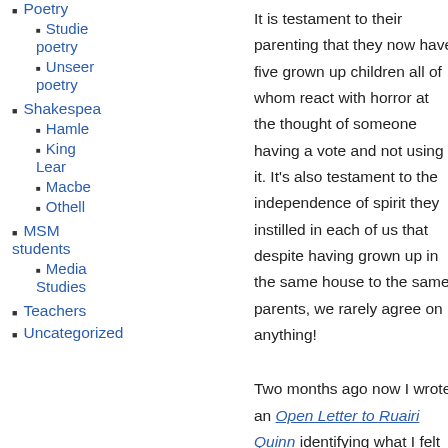Poetry
Studies of poetry
Unseen poetry
Shakespeare
Hamlet
King Lear
Macbeth
Othello
MSM students
Media Studies
Teachers
Uncategorized
It is testament to their parenting that they now have five grown up children all of whom react with horror at the thought of someone having a vote and not using it. It’s also testament to the independence of spirit they instilled in each of us that despite having grown up in the same house to the same parents, we rarely agree on anything!
Two months ago now I wrote an Open Letter to Ruairi Quinn identifying what I felt were the real reasons teachers felt drained, demoralised and defeated. It feels like a lifetime ago. I listed exploding class sizes and diminishing subject